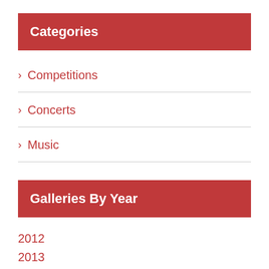Categories
Competitions
Concerts
Music
Galleries By Year
2012
2013
2014
2015